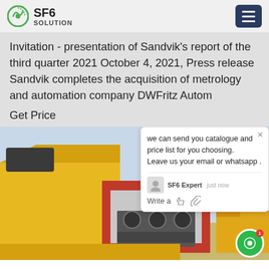SF6 SOLUTION
Invitation - presentation of Sandvik's report of the third quarter 2021 October 4, 2021, Press release Sandvik completes the acquisition of metrology and automation company DWFritz Autom
Get Price
[Figure (photo): Yellow industrial SF6 gas equipment vehicle with red and grey machinery unit, in outdoor substation setting with crane trucks and power infrastructure in background.]
we can send you catalogue and price list for you choosing.
Leave us your email or whatsapp .